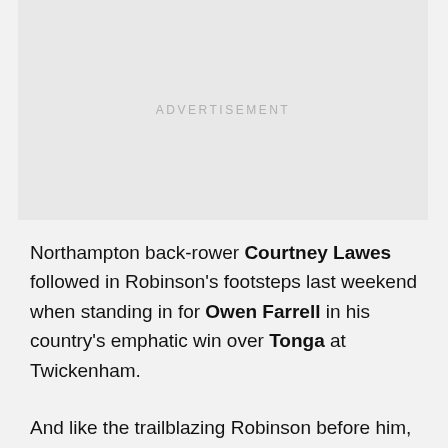[Figure (other): Advertisement placeholder box with light gray background and 'ADVERTISEMENT' label text centered]
Northampton back-rower Courtney Lawes followed in Robinson's footsteps last weekend when standing in for Owen Farrell in his country's emphatic win over Tonga at Twickenham.
And like the trailblazing Robinson before him, Lawes also marked the occasion with an outstanding piece